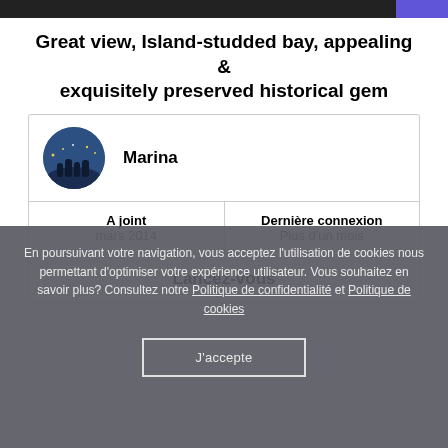Great view, Island-studded bay, appealing & exquisitely preserved historical gem
| Marina |  |
| A joint
mars 2014 | Dernière connexion
Plus d'un mois |
| Lancez-vous |  |
En poursuivant votre navigation, vous acceptez l'utilisation de cookies nous permettant d'optimiser votre expérience utilisateur. Vous souhaitez en savoir plus? Consultez notre Politique de confidentialité et Politique de cookies
J'accepte